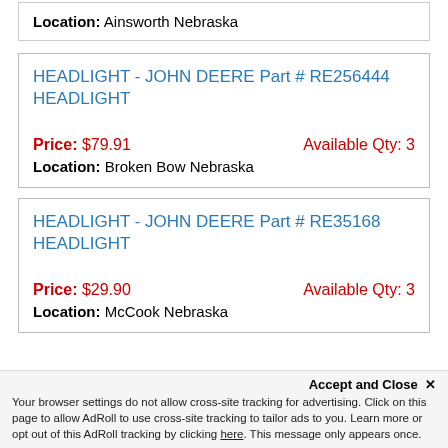Location: Ainsworth Nebraska
HEADLIGHT - JOHN DEERE Part # RE256444 HEADLIGHT
Price: $79.91   Available Qty: 3
Location: Broken Bow Nebraska
HEADLIGHT - JOHN DEERE Part # RE35168 HEADLIGHT
Price: $29.90   Available Qty: 3
Location: McCook Nebraska
Accept and Close ✕
Your browser settings do not allow cross-site tracking for advertising. Click on this page to allow AdRoll to use cross-site tracking to tailor ads to you. Learn more or opt out of this AdRoll tracking by clicking here. This message only appears once.